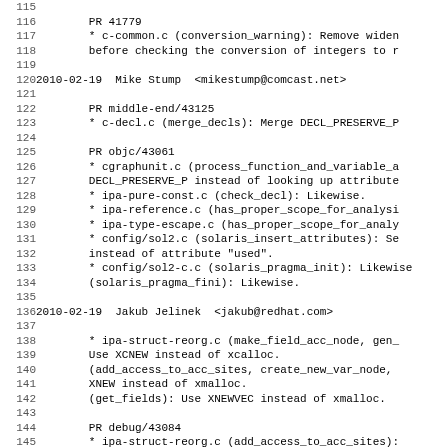Source code changelog/commit log lines 115-146
115 (blank)
116     PR 41779
117     * c-common.c (conversion_warning): Remove widen
118     before checking the conversion of integers to r
119 (blank)
120 2010-02-19  Mike Stump  <mikestump@comcast.net>
121 (blank)
122     PR middle-end/43125
123     * c-decl.c (merge_decls): Merge DECL_PRESERVE_P
124 (blank)
125     PR objc/43061
126     * cgraphunit.c (process_function_and_variable_a
127     DECL_PRESERVE_P instead of looking up attribute
128     * ipa-pure-const.c (check_decl): Likewise.
129     * ipa-reference.c (has_proper_scope_for_analysi
130     * ipa-type-escape.c (has_proper_scope_for_analy
131     * config/sol2.c (solaris_insert_attributes): Se
132     instead of attribute "used".
133     * config/sol2-c.c (solaris_pragma_init): Likewise
134     (solaris_pragma_fini): Likewise.
135 (blank)
136 2010-02-19  Jakub Jelinek  <jakub@redhat.com>
137 (blank)
138     * ipa-struct-reorg.c (make_field_acc_node, gen_
139     Use XCNEW instead of xcalloc.
140     (add_access_to_acc_sites, create_new_var_node,
141     XNEW instead of xmalloc.
142     (get_fields): Use XNEWVEC instead of xmalloc.
143 (blank)
144     PR debug/43084
145     * ipa-struct-reorg.c (add_access_to_acc_sites):
146     populate vars array.